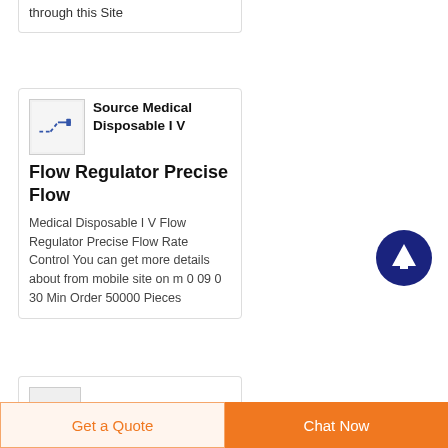through this Site
Source Medical Disposable I V Flow Regulator Precise Flow
Medical Disposable I V Flow Regulator Precise Flow Rate Control You can get more details about from mobile site on m 0 09 0 30 Min Order 50000 Pieces
[Figure (photo): Small thumbnail of IV flow regulator product]
Medical
[Figure (photo): Small thumbnail of medical product]
Get a Quote
Chat Now